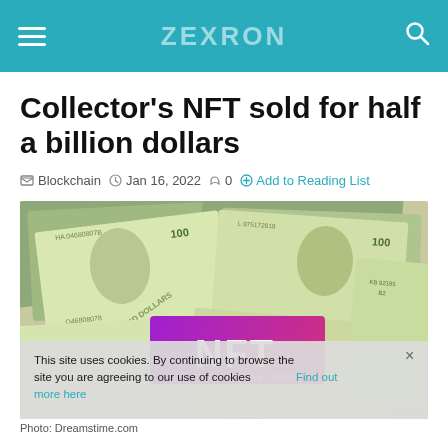ZEXRON
Collector's NFT sold for half a billion dollars
Blockchain  Jan 16, 2022  0  Add to Reading List
[Figure (photo): Photo showing multiple $100 US dollar bills spread out with a purple NFT logo card overlaid on top. A cookie consent banner overlays the lower portion.]
Photo: Dreamstime.com